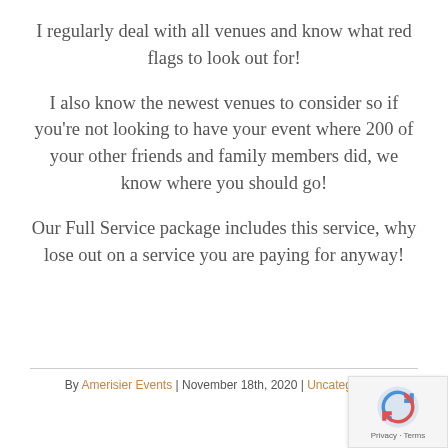I regularly deal with all venues and know what red flags to look out for!
I also know the newest venues to consider so if you're not looking to have your event where 200 of your other friends and family members did, we know where you should go!
Our Full Service package includes this service, why lose out on a service you are paying for anyway!
By Amerisier Events | November 18th, 2020 | Uncategoriz...